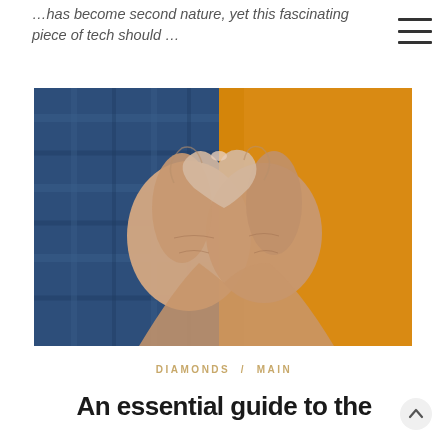...has become second nature, yet this fascinating piece of tech should ...
[Figure (photo): Two elderly people forming a heart shape with their hands. One person wears a blue plaid shirt, the other a yellow/mustard sweater.]
DIAMONDS / MAIN
An essential guide to the